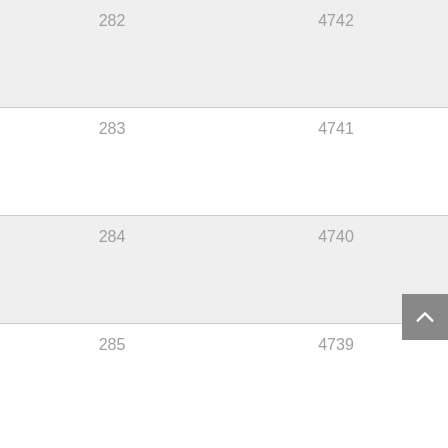| 282 | 4742 |
| 283 | 4741 |
| 284 | 4740 |
| 285 | 4739 |